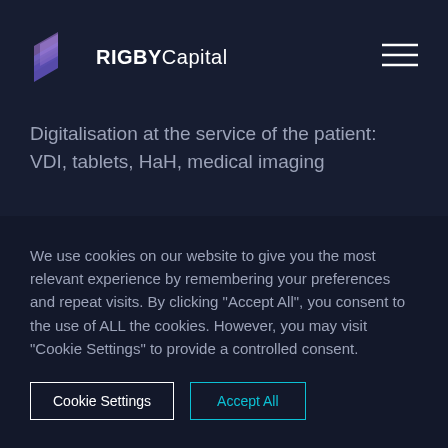[Figure (logo): Rigby Capital logo with purple layered chevron/arrow icon and white text 'RIGBY Capital']
[Figure (other): Hamburger menu icon (three horizontal lines) in white, top right corner]
Digitalisation at the service of the patient: VDI, tablets, HaH, medical imaging
We use cookies on our website to give you the most relevant experience by remembering your preferences and repeat visits. By clicking "Accept All", you consent to the use of ALL the cookies. However, you may visit "Cookie Settings" to provide a controlled consent.
Cookie Settings
Accept All